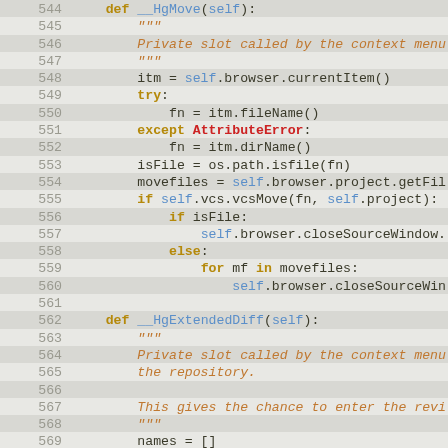[Figure (screenshot): Python source code viewer showing lines 544-569, with syntax highlighting. Alternate lines have a darker background. Line numbers shown in grey on the left. Keywords in orange/bold, 'self' in blue, string docstrings in italic orange, AttributeError in red/bold.]